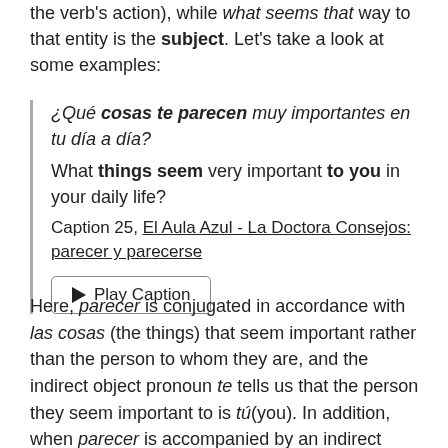the verb's action), while what seems that way to that entity is the subject. Let's take a look at some examples:
¿Qué cosas te parecen muy importantes en tu día a día? What things seem very important to you in your daily life?
Caption 25, El Aula Azul - La Doctora Consejos: parecer y parecerse
▶ Play Caption
Here, parecer is conjugated in accordance with las cosas (the things) that seem important rather than the person to whom they are, and the indirect object pronoun te tells us that the person they seem important to is tú(you). In addition, when parecer is accompanied by an indirect object pronoun, it entails an opinion, similar to the idea in English that someone